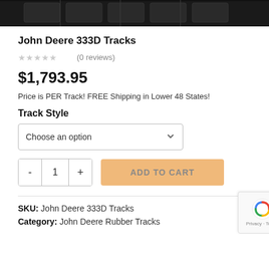[Figure (photo): Top strip showing rubber track product (dark rubber tracks, close-up)]
John Deere 333D Tracks
★★★★★ (0 reviews)
$1,793.95
Price is PER Track! FREE Shipping in Lower 48 States!
Track Style
Choose an option
- 1 + ADD TO CART
SKU: John Deere 333D Tracks
Category: John Deere Rubber Tracks